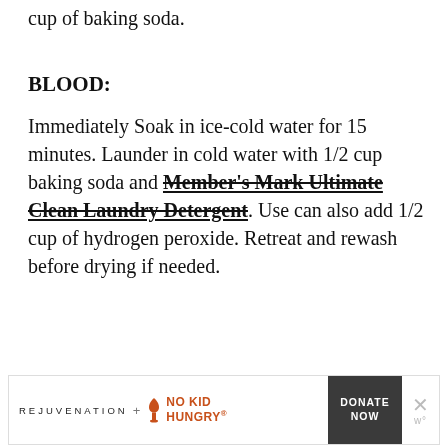cup of baking soda.
BLOOD:
Immediately Soak in ice-cold water for 15 minutes. Launder in cold water with 1/2 cup baking soda and Member's Mark Ultimate Clean Laundry Detergent. Use can also add 1/2 cup of hydrogen peroxide. Retreat and rewash before drying if needed.
[Figure (infographic): Advertisement banner: Rejuvenation + No Kid Hungry logo with Donate Now button and close button]